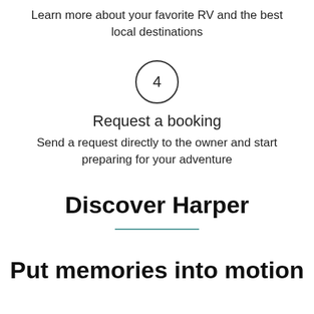Learn more about your favorite RV and the best local destinations
[Figure (infographic): Circle with number 4 inside]
Request a booking
Send a request directly to the owner and start preparing for your adventure
Discover Harper
Put memories into motion